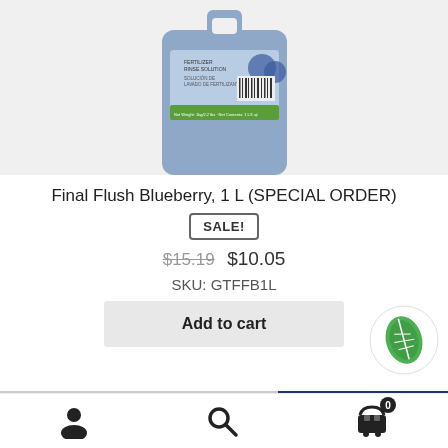[Figure (photo): Blue plastic bottle of Final Flush Blueberry fertilizer rinse solution, partially cropped at top]
Final Flush Blueberry, 1 L (SPECIAL ORDER)
SALE!
$15.19  $10.05
SKU: GTFFB1L
Add to cart
[Figure (logo): Green leaf logo in white circle]